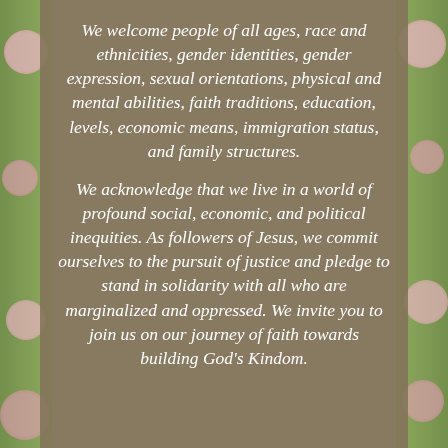We welcome people of all ages, race and ethnicities, gender identities, gender expression, sexual orientations, physical and mental abilities, faith traditions, education, levels, economic means, immigration status, and family structures.
We acknowledge that we live in a world of profound social, economic, and political inequities. As followers of Jesus, we commit ourselves to the pursuit of justice and pledge to stand in solidarity with all who are marginalized and oppressed. We invite you to join us on our journey of faith towards building God's Kindom.